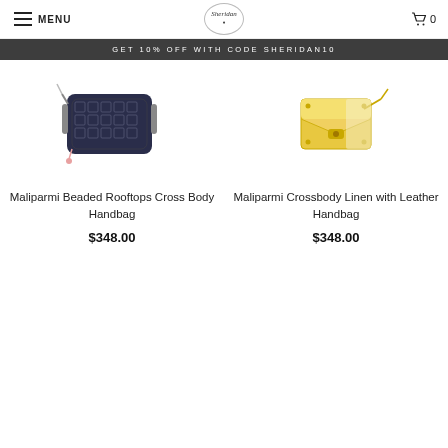MENU | Sheridan | 0
GET 10% OFF WITH CODE SHERIDAN10
[Figure (photo): Maliparmi Beaded Rooftops Cross Body Handbag - dark navy patterned crossbody bag]
Maliparmi Beaded Rooftops Cross Body Handbag
$348.00
[Figure (photo): Maliparmi Crossbody Linen with Leather Handbag - yellow/cream envelope style bag]
Maliparmi Crossbody Linen with Leather Handbag
$348.00